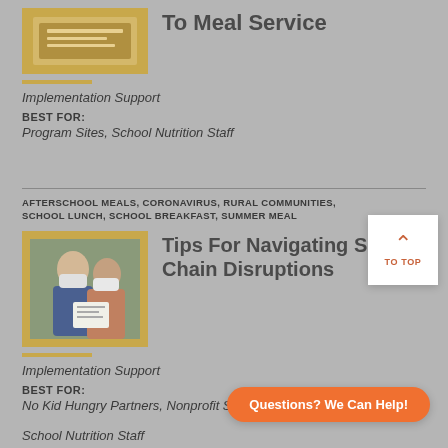To Meal Service
Implementation Support
BEST FOR:
Program Sites, School Nutrition Staff
AFTERSCHOOL MEALS, CORONAVIRUS, RURAL COMMUNITIES, SCHOOL LUNCH, SCHOOL BREAKFAST, SUMMER MEAL
[Figure (photo): Two women wearing face masks looking at a document together]
Tips For Navigating Supply Chain Disruptions
Implementation Support
BEST FOR:
No Kid Hungry Partners, Nonprofit Sponsors, Program Sites, School Nutrition Staff